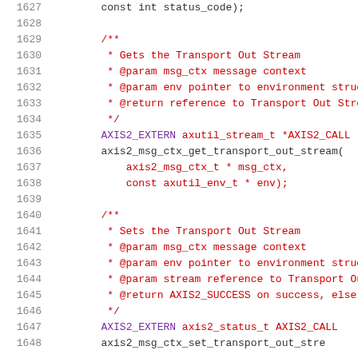Code listing lines 1627-1647, C header file with Axis2 API documentation and function declarations for transport stream operations